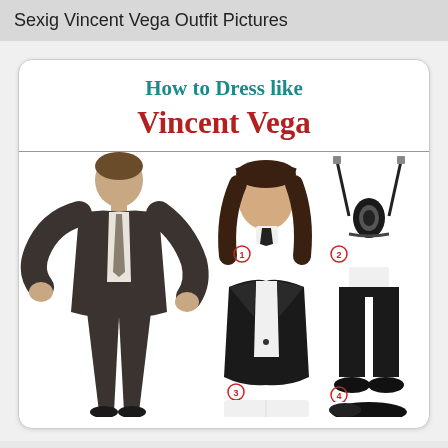Sexig Vincent Vega Outfit Pictures
How to Dress like Vincent Vega
[Figure (infographic): How to dress like Vincent Vega infographic showing the Pulp Fiction character (John Travolta) dancing in a black suit with tie, alongside numbered clothing items: 1) long black wig, 2) bolo tie, 3) black suit jacket, 4) black dress pants, 5) white dress shirt, 6) black dress shoes]